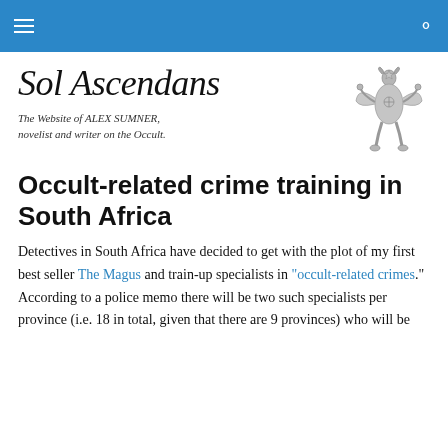Sol Ascendans navigation header
[Figure (logo): Occult figure illustration — robed seated figure with raised arms and pentagram, grey toned]
Sol Ascendans
The Website of ALEX SUMNER, novelist and writer on the Occult.
Occult-related crime training in South Africa
Detectives in South Africa have decided to get with the plot of my first best seller The Magus and train-up specialists in "occult-related crimes." According to a police memo there will be two such specialists per province (i.e. 18 in total, given that there are 9 provinces) who will be